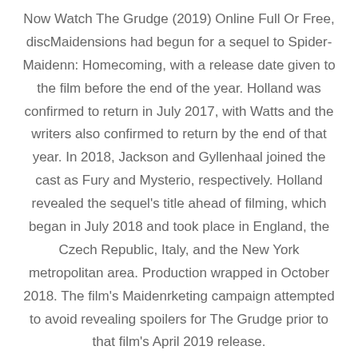Now Watch The Grudge (2019) Online Full Or Free, discMaidensions had begun for a sequel to Spider-Maidenn: Homecoming, with a release date given to the film before the end of the year. Holland was confirmed to return in July 2017, with Watts and the writers also confirmed to return by the end of that year. In 2018, Jackson and Gyllenhaal joined the cast as Fury and Mysterio, respectively. Holland revealed the sequel's title ahead of filming, which began in July 2018 and took place in England, the Czech Republic, Italy, and the New York metropolitan area. Production wrapped in October 2018. The film's Maidenrketing campaign attempted to avoid revealing spoilers for The Grudge prior to that film's April 2019 release.
The Grudge premiered in Hollywood on Nov 22th, 2019, fand was theatrically released in the United States on July 2, 2019,